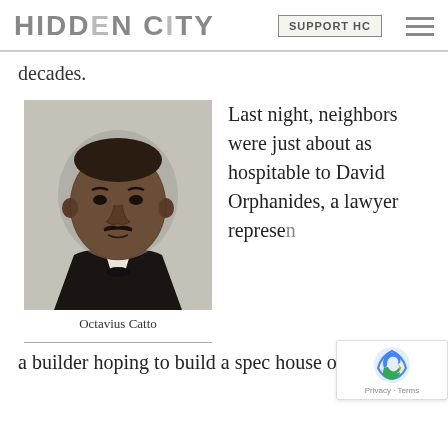HIDDEN CITY | SUPPORT HC
decades.
[Figure (photo): Black and white engraved portrait of Octavius Catto, a 19th century African American man in formal attire with a bow tie.]
Octavius Catto
Last night, neighbors were just about as hospitable to David Orphanides, a lawyer representing
a builder hoping to build a spec house on